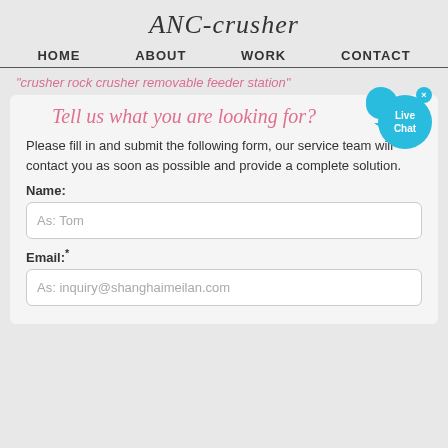ANC-crusher
HOME   ABOUT   WORK   CONTACT
"crusher rock crusher removable feeder station"
Tell us what you are looking for?
Please fill in and submit the following form, our service team will contact you as soon as possible and provide a complete solution.
Name:
As: Tom
Email:*
As: inquiry@shanghaimeilan.com